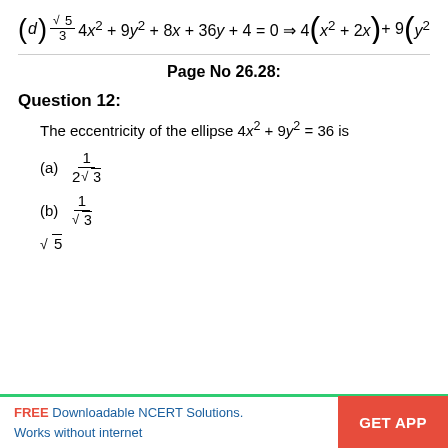Page No 26.28:
Question 12:
The eccentricity of the ellipse 4x² + 9y² = 36 is
FREE Downloadable NCERT Solutions. Works without internet | GET APP